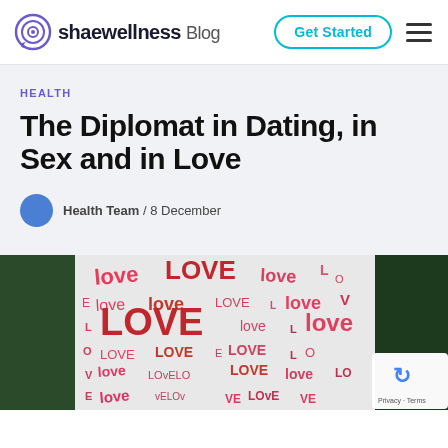shaewellness Blog | Get Started
HEALTH
The Diplomat in Dating, in Sex and in Love
Health Team / 8 December
[Figure (photo): A white board or paper filled with the word LOVE written in various red and pink handwritten lettering styles and sizes, with a dark green leafy background on the sides.]